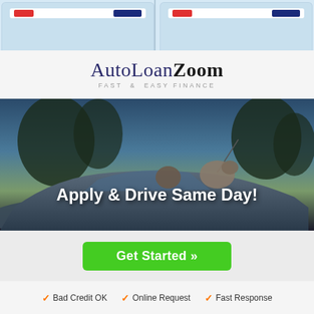[Figure (screenshot): Two mobile app/website screenshots side by side with red and blue UI elements on light blue background]
AutoLoanZoom — FAST & EASY FINANCE
[Figure (photo): Person driving a car with a dog hanging out the window at sunset, with overlay text 'Apply & Drive Same Day!']
Apply & Drive Same Day!
Get Started »
✓ Bad Credit OK  ✓ Online Request  ✓ Fast Response